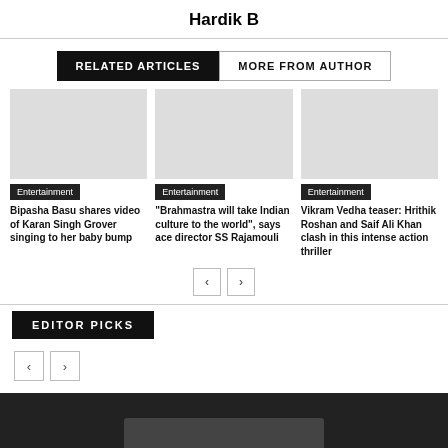Hardik B
RELATED ARTICLES | MORE FROM AUTHOR
Entertainment — Bipasha Basu shares video of Karan Singh Grover singing to her baby bump
Entertainment — "Brahmastra will take Indian culture to the world", says ace director SS Rajamouli
Entertainment — Vikram Vedha teaser: Hrithik Roshan and Saif Ali Khan clash in this intense action thriller
EDITOR PICKS